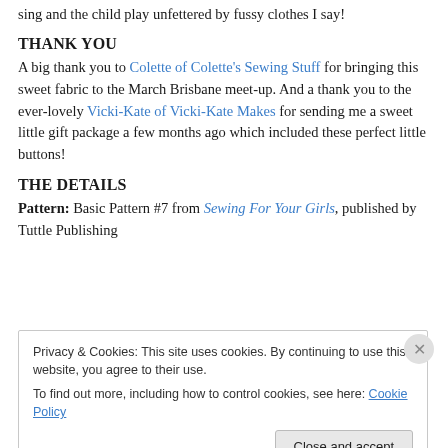sing and the child play unfettered by fussy clothes I say!
THANK YOU
A big thank you to Colette of Colette's Sewing Stuff for bringing this sweet fabric to the March Brisbane meet-up. And a thank you to the ever-lovely Vicki-Kate of Vicki-Kate Makes for sending me a sweet little gift package a few months ago which included these perfect little buttons!
THE DETAILS
Pattern: Basic Pattern #7 from Sewing For Your Girls, published by Tuttle Publishing
Privacy & Cookies: This site uses cookies. By continuing to use this website, you agree to their use.
To find out more, including how to control cookies, see here: Cookie Policy
Close and accept